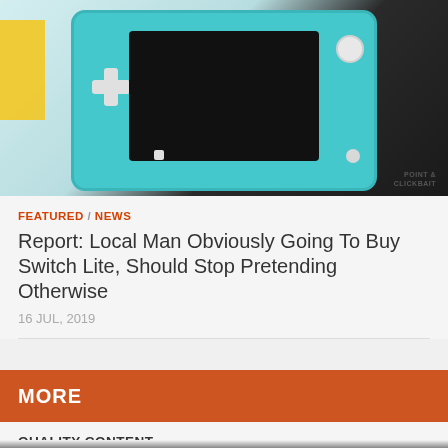[Figure (photo): Nintendo Switch Lite gaming console in teal/turquoise color shown from above, with a yellow Switch Lite partially visible on the left. Point & Clickbait watermark visible in bottom right of image.]
FEATURED / NEWS
Report: Local Man Obviously Going To Buy Switch Lite, Should Stop Pretending Otherwise
16 JUL, 2019
MORE
QUALITY CONTENT
[Figure (photo): Dark dramatic scene showing two figures, appears to be a superhero movie image (Batman v Superman style) with a man in center visible from chest up.]